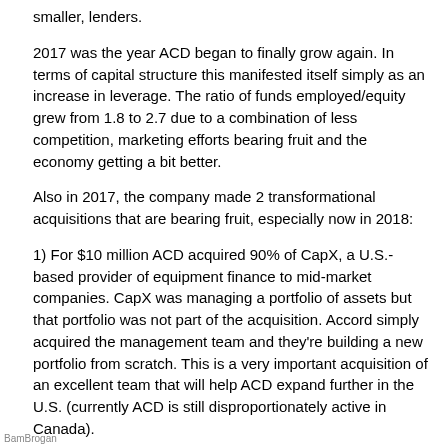smaller, lenders.
2017 was the year ACD began to finally grow again. In terms of capital structure this manifested itself simply as an increase in leverage. The ratio of funds employed/equity grew from 1.8 to 2.7 due to a combination of less competition, marketing efforts bearing fruit and the economy getting a bit better.
Also in 2017, the company made 2 transformational acquisitions that are bearing fruit, especially now in 2018:
1) For $10 million ACD acquired 90% of CapX, a U.S.-based provider of equipment finance to mid-market companies. CapX was managing a portfolio of assets but that portfolio was not part of the acquisition. Accord simply acquired the management team and they're building a new portfolio from scratch. This is a very important acquisition of an excellent team that will help ACD expand further in the U.S. (currently ACD is still disproportionately active in Canada).
2) For $6 million ACD acquired 50% of BondIt – a movie and TV financing shop in Santa Monica that acts as a
BamBrogan